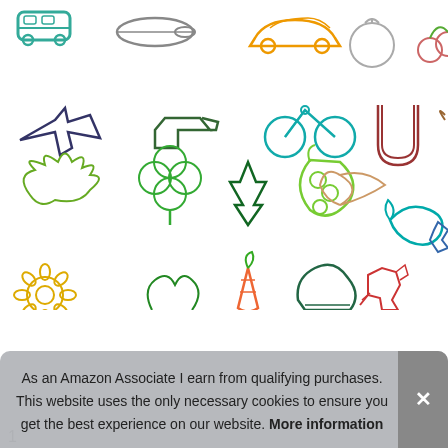[Figure (illustration): A grid of colorful wire/paperclip-style icon shapes depicting various objects: vehicles (bus, train/plane, car, airplane, boot/shoe, bicycle), fruits and vegetables (pomegranate, cherries, pepper/heart, banana/U-shape, apple, snail, kale/lettuce, clover, pine tree, peas, fish/manta ray, dolphin, dinosaur, sunflower, sprout, carrot, mushroom, dog, deer, kangaroo, hippo, butterfly, sea urchin, lizard, deer, penguin, mammoth/bison, turtle, avocado/bowl, crown/castle, rope knot, anchor/lamp). Multiple rows and columns of outline icons in various colors (green, purple, orange, pink, blue, red, brown, gold).]
As an Amazon Associate I earn from qualifying purchases. This website uses the only necessary cookies to ensure you get the best experience on our website. More information